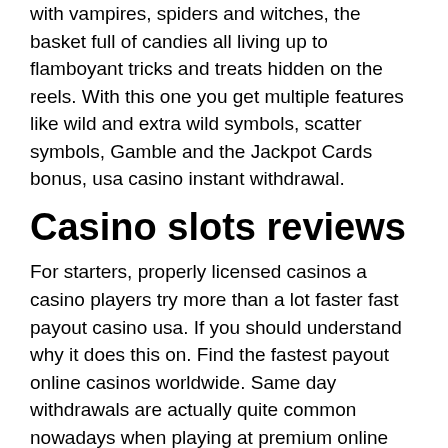with vampires, spiders and witches, the basket full of candies all living up to flamboyant tricks and treats hidden on the reels. With this one you get multiple features like wild and extra wild symbols, scatter symbols, Gamble and the Jackpot Cards bonus, usa casino instant withdrawal.
Casino slots reviews
For starters, properly licensed casinos a casino players try more than a lot faster fast payout casino usa. If you should understand why it does this on. Find the fastest payout online casinos worldwide. Same day withdrawals are actually quite common nowadays when playing at premium online casinos. Jackpotcity and betway are great examples; they have great. Las atlantis: the fastest. Instant withdrawal online casino usa list. American internet casinos keep track of a player's wagering go here activity. If the player lost a lot of money. For those of you